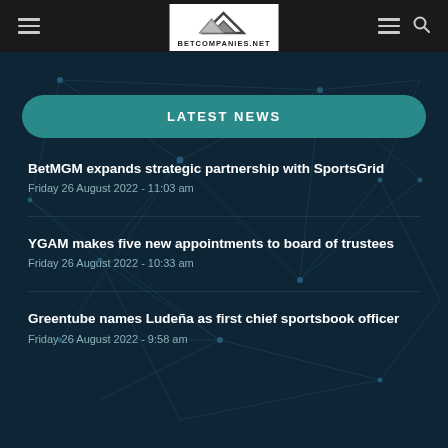[Figure (logo): BetCompanies.net logo with mountain/roof graphic icon on white background]
LATEST NEWS
BetMGM expands strategic partnership with SportsGrid
Friday 26 August 2022 - 11:03 am
YGAM makes five new appointments to board of trustees
Friday 26 August 2022 - 10:33 am
Greentube names Ludeña as first chief sportsbook officer
Friday 26 August 2022 - 9:58 am